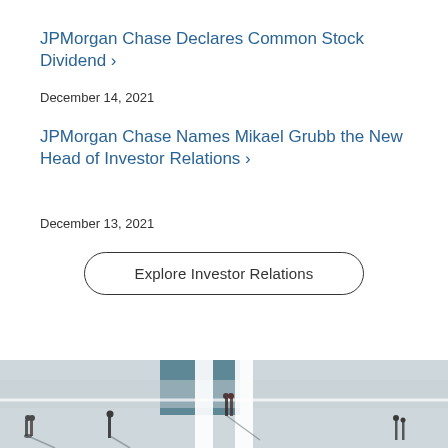JPMorgan Chase Declares Common Stock Dividend ›
December 14, 2021
JPMorgan Chase Names Mikael Grubb the New Head of Investor Relations ›
December 13, 2021
Explore Investor Relations
[Figure (photo): Aerial view of people walking on a large white-marked road or plaza surface, casting long shadows, with a teal/dark colored crosswalk or marking visible.]